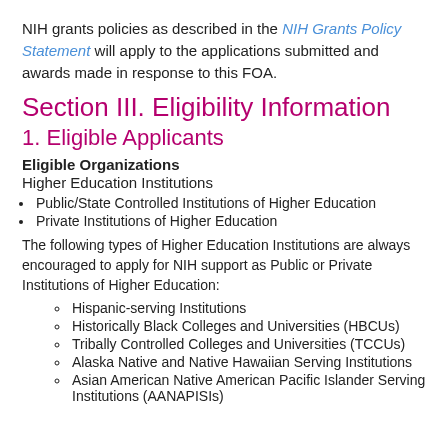NIH grants policies as described in the NIH Grants Policy Statement will apply to the applications submitted and awards made in response to this FOA.
Section III. Eligibility Information
1. Eligible Applicants
Eligible Organizations
Higher Education Institutions
Public/State Controlled Institutions of Higher Education
Private Institutions of Higher Education
The following types of Higher Education Institutions are always encouraged to apply for NIH support as Public or Private Institutions of Higher Education:
Hispanic-serving Institutions
Historically Black Colleges and Universities (HBCUs)
Tribally Controlled Colleges and Universities (TCCUs)
Alaska Native and Native Hawaiian Serving Institutions
Asian American Native American Pacific Islander Serving Institutions (AANAPISIs)